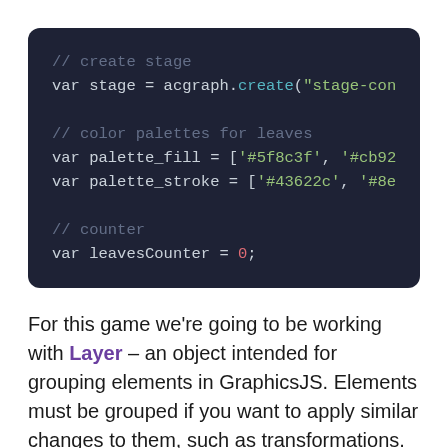[Figure (screenshot): Dark-themed code block showing JavaScript variable declarations for a stage, color palettes for leaves, and a leaves counter. Background is dark navy (#1e2235). Code is syntax-highlighted with comments in grey, keywords in white, methods in cyan, strings in green, numbers in red/salmon.]
For this game we're going to be working with Layer – an object intended for grouping elements in GraphicsJS. Elements must be grouped if you want to apply similar changes to them, such as transformations. You can change layers when in